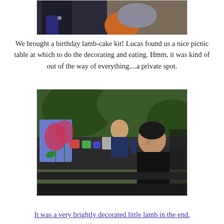[Figure (photo): Partial photo showing people sitting at a picnic area, cropped at top of page]
We brought a birthday lamb-cake kit! Lucas found us a nice picnic table at which to do the decorating and eating. Hmm, it was kind of out of the way of everything....a private spot.
[Figure (photo): Two people at a picnic table outdoors decorating a birthday lamb cake, with a decorative bag with tulips visible on the left, surrounded by trees and greenery]
It was a very brightly decorated little lamb in the end.